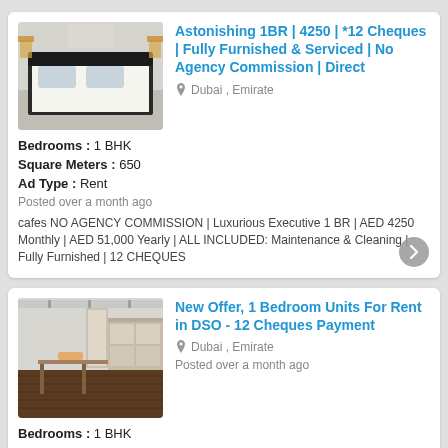Astonishing 1BR | 4250 | *12 Cheques | Fully Furnished & Serviced | No Agency Commission | Direct
Dubai , Emirate
Bedrooms : 1 BHK
Square Meters : 650
Ad Type : Rent
Posted over a month ago
cafes NO AGENCY COMMISSION | Luxurious Executive 1 BR | AED 4250 Monthly | AED 51,000 Yearly | ALL INCLUDED: Maintenance & Cleaning | Fully Furnished | 12 CHEQUES
[Figure (photo): Bedroom photo showing a white bed with pillows and bedside lamps]
New Offer, 1 Bedroom Units For Rent in DSO - 12 Cheques Payment
Dubai , Emirate
Posted over a month ago
[Figure (photo): Interior photo of an apartment showing kitchen and living area with dark wood floors]
Bedrooms : 1 BHK
Square Meters : 900